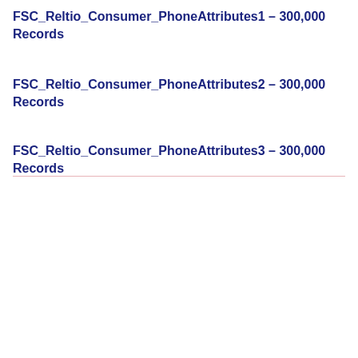FSC_Reltio_Consumer_PhoneAttributes1 – 300,000 Records
FSC_Reltio_Consumer_PhoneAttributes2 – 300,000 Records
FSC_Reltio_Consumer_PhoneAttributes3 – 300,000 Records